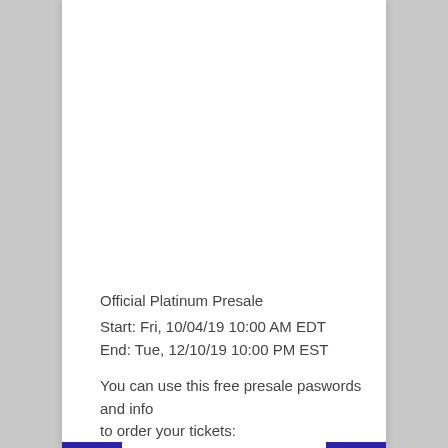Official Platinum Presale
Start: Fri, 10/04/19 10:00 AM EDT
End: Tue, 12/10/19 10:00 PM EST
You can use this free presale paswords and info to order your tickets: